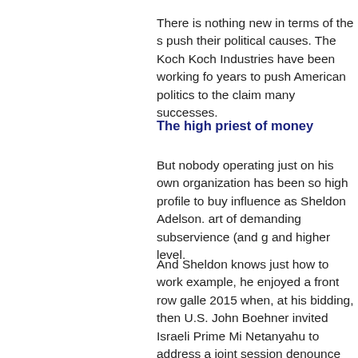There is nothing new in terms of the s push their political causes. The Koch Koch Industries have been working fo years to push American politics to the claim many successes.
The high priest of money
But nobody operating just on his own organization has been so high profile to buy influence as Sheldon Adelson. art of demanding subservience (and g and higher level.
And Sheldon knows just how to work example, he enjoyed a front row galle 2015 when, at his bidding, then U.S. John Boehner invited Israeli Prime Mi Netanyahu to address a joint session denounce President Obama's efforts agreement with Iran.